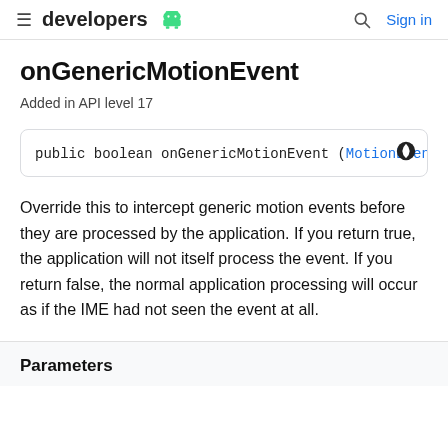≡ developers [android logo] 🔍 Sign in
onGenericMotionEvent
Added in API level 17
public boolean onGenericMotionEvent (MotionEvent eve
Override this to intercept generic motion events before they are processed by the application. If you return true, the application will not itself process the event. If you return false, the normal application processing will occur as if the IME had not seen the event at all.
Parameters